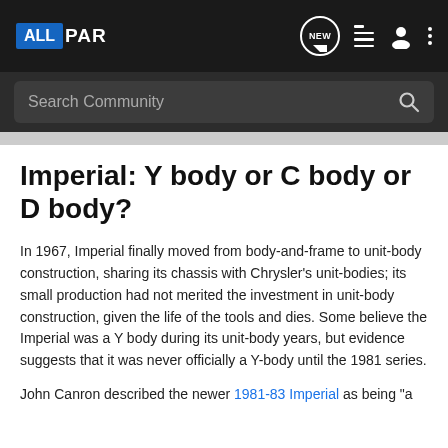ALLPAR — navigation bar with logo, NEW, list, user, and more icons
Search Community
Imperial: Y body or C body or D body?
In 1967, Imperial finally moved from body-and-frame to unit-body construction, sharing its chassis with Chrysler's unit-bodies; its small production had not merited the investment in unit-body construction, given the life of the tools and dies. Some believe the Imperial was a Y body during its unit-body years, but evidence suggests that it was never officially a Y-body until the 1981 series.
John Canron described the newer 1981-83 Imperial as being "a